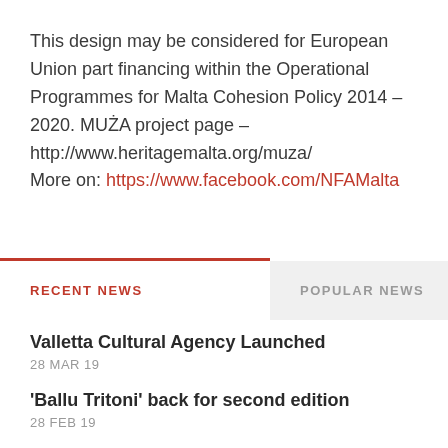This design may be considered for European Union part financing within the Operational Programmes for Malta Cohesion Policy 2014 – 2020. MUŻA project page – http://www.heritagemalta.org/muza/ More on: https://www.facebook.com/NFAMalta
RECENT NEWS
POPULAR NEWS
Valletta Cultural Agency Launched
28 MAR 19
'Ballu Tritoni' back for second edition
28 FEB 19